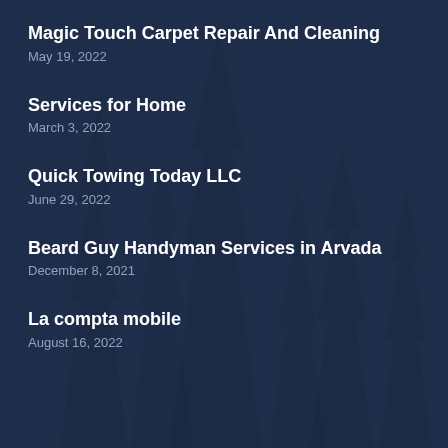Magic Touch Carpet Repair And Cleaning
May 19, 2022
Services for Home
March 3, 2022
Quick Towing Today LLC
June 29, 2022
Beard Guy Handyman Services in Arvada
December 8, 2021
La compta mobile
August 16, 2022